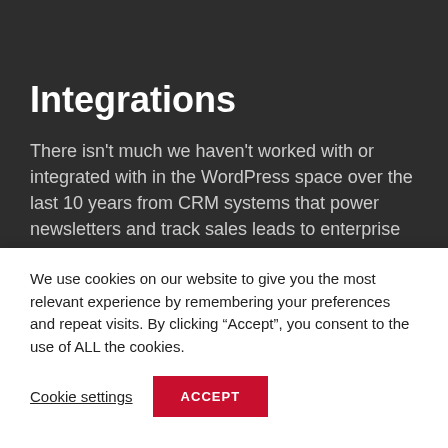Integrations
There isn't much we haven't worked with or integrated with in the WordPress space over the last 10 years from CRM systems that power newsletters and track sales leads to enterprise level ecommerce and learning management
We use cookies on our website to give you the most relevant experience by remembering your preferences and repeat visits. By clicking “Accept”, you consent to the use of ALL the cookies.
Cookie settings
ACCEPT